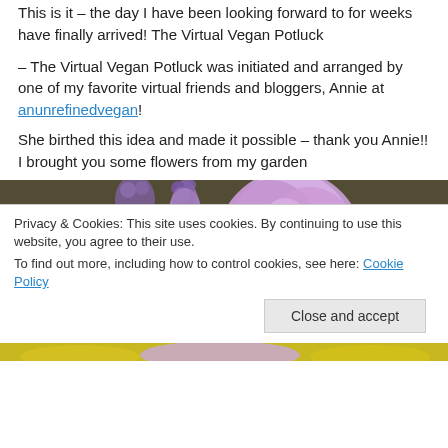This is it – the day I have been looking forward to for weeks have finally arrived! The Virtual Vegan Potluck
– The Virtual Vegan Potluck was initiated and arranged by one of my favorite virtual friends and bloggers, Annie at anunrefinedvegan!
She birthed this idea and made it possible – thank you Annie!! I brought you some flowers from my garden
[Figure (photo): Close-up photograph of purple and yellow lilac flowers against a dark background]
Privacy & Cookies: This site uses cookies. By continuing to use this website, you agree to their use. To find out more, including how to control cookies, see here: Cookie Policy